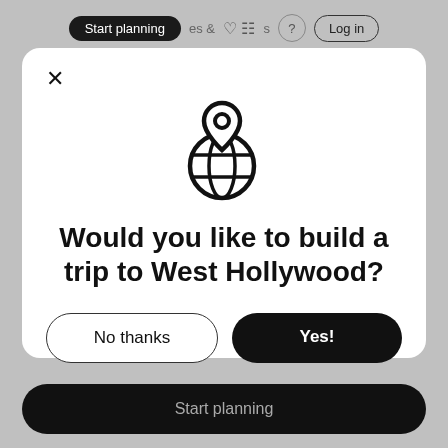[Figure (screenshot): App navigation bar with 'Start planning' dark pill button, icons for saved items and grid, help circle, and 'Log in' outlined button]
[Figure (illustration): Globe with location pin icon, line art style, black on white]
Would you like to build a trip to West Hollywood?
No thanks
Yes!
Start planning